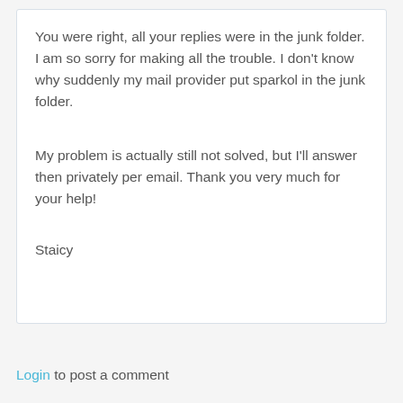You were right, all your replies were in the junk folder. I am so sorry for making all the trouble. I don't know why suddenly my mail provider put sparkol in the junk folder.
My problem is actually still not solved, but I'll answer then privately per email. Thank you very much for your help!
Staicy
Login to post a comment